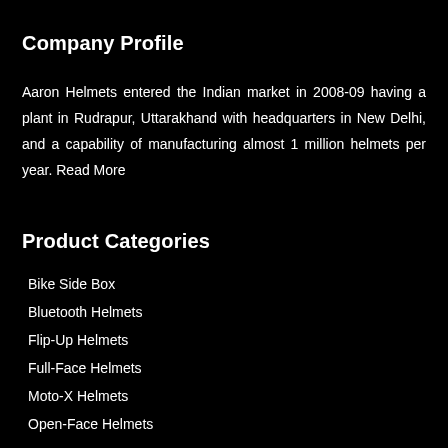Company Profile
Aaron Helmets entered the Indian market in 2008-09 having a plant in Rudrapur, Uttarakhand with headquarters in New Delhi, and a capability of manufacturing almost 1 million helmets per year. Read More
Product Categories
Bike Side Box
Bluetooth Helmets
Flip-Up Helmets
Full-Face Helmets
Moto-X Helmets
Open-Face Helmets